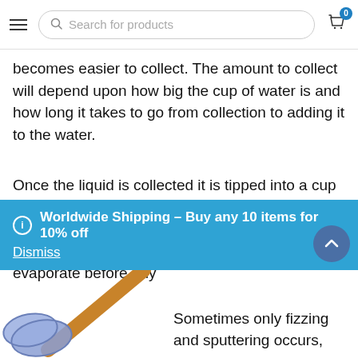Search for products
becomes easier to collect. The amount to collect will depend upon how big the cup of water is and how long it takes to go from collection to adding it to the water.
Once the liquid is collected it is tipped into a cup of hot water at a distance. It is important that the collected freezer fluid is tipped in at once and not dripped in. If it is added too slowly it will just evaporate before any
Worldwide Shipping – Buy any 10 items for 10% off Dismiss
Sometimes only fizzing and sputtering occurs,
[Figure (illustration): Illustration of a mallet or hammer with a blue head and brown/orange handle, positioned diagonally in the lower left corner of the page.]